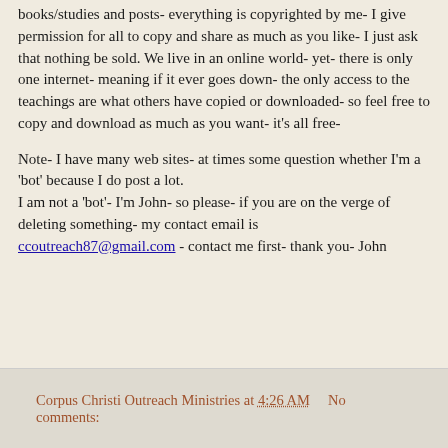books/studies and posts- everything is copyrighted by me- I give permission for all to copy and share as much as you like- I just ask that nothing be sold. We live in an online world- yet- there is only one internet- meaning if it ever goes down- the only access to the teachings are what others have copied or downloaded- so feel free to copy and download as much as you want- it’s all free-
Note- I have many web sites- at times some question whether I’m a ‘bot’ because I do post a lot.
I am not a ‘bot’- I’m John- so please- if you are on the verge of deleting something- my contact email is ccoutreach87@gmail.com - contact me first- thank you- John
Corpus Christi Outreach Ministries at 4:26 AM    No comments: